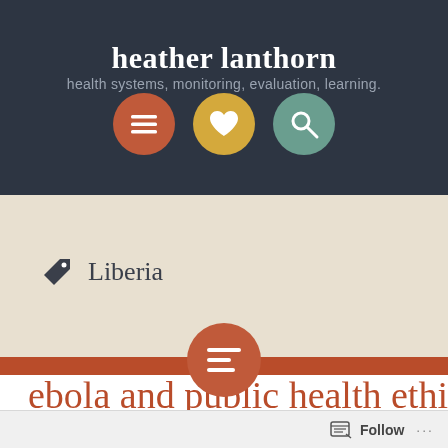heather lanthorn
health systems, monitoring, evaluation, learning.
[Figure (infographic): Three circular icon buttons: orange/red menu icon, gold heart icon, teal search/magnifier icon]
Liberia
[Figure (infographic): A dark red/terracotta circle with a text/lines icon centered on a red horizontal divider bar]
ebola and public health ethics
Follow ...